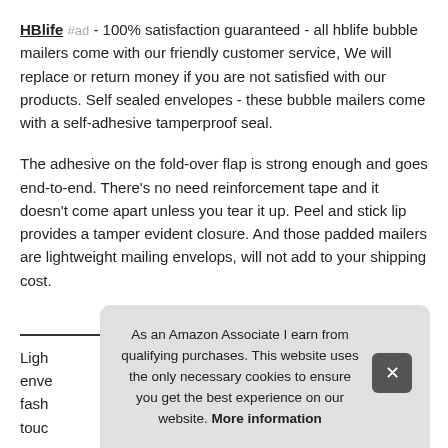HBlife #ad - 100% satisfaction guaranteed - all hblife bubble mailers come with our friendly customer service, We will replace or return money if you are not satisfied with our products. Self sealed envelopes - these bubble mailers come with a self-adhesive tamperproof seal.
The adhesive on the fold-over flap is strong enough and goes end-to-end. There's no need reinforcement tape and it doesn't come apart unless you tear it up. Peel and stick lip provides a tamper evident closure. And those padded mailers are lightweight mailing envelops, will not add to your shipping cost.
More information #ad
Ligh enve fash touc
As an Amazon Associate I earn from qualifying purchases. This website uses the only necessary cookies to ensure you get the best experience on our website. More information